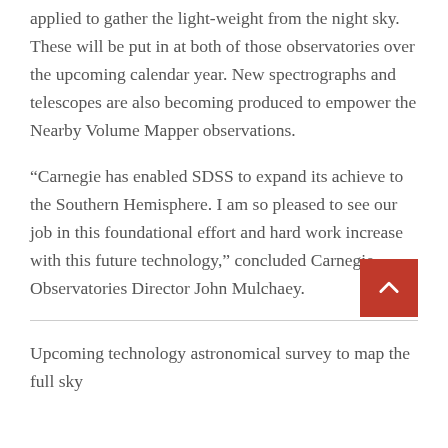applied to gather the light-weight from the night sky. These will be put in at both of those observatories over the upcoming calendar year. New spectrographs and telescopes are also becoming produced to empower the Nearby Volume Mapper observations.
“Carnegie has enabled SDSS to expand its achieve to the Southern Hemisphere. I am so pleased to see our job in this foundational effort and hard work increase with this future technology,” concluded Carnegie Observatories Director John Mulchaey.
Upcoming technology astronomical survey to map the full sky